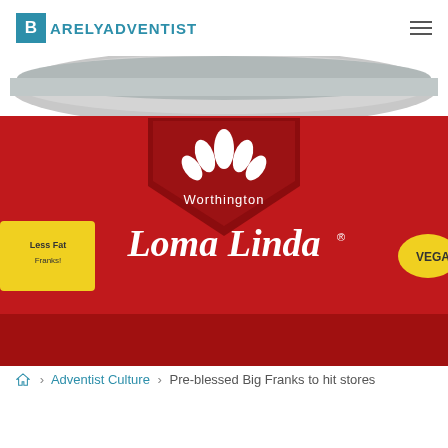BARELYADVENTIST
[Figure (photo): Close-up photo of a red Worthington Loma Linda can label. The label shows the Worthington lotus/flower logo, 'Worthington' text, 'Loma Linda' in cursive script with a registered trademark symbol. On the left edge is a yellow banner with 'Less Fat' and 'Franks!' text. On the right edge is a yellow oval with 'VEGA' visible.]
Adventist Culture > Pre-blessed Big Franks to hit stores